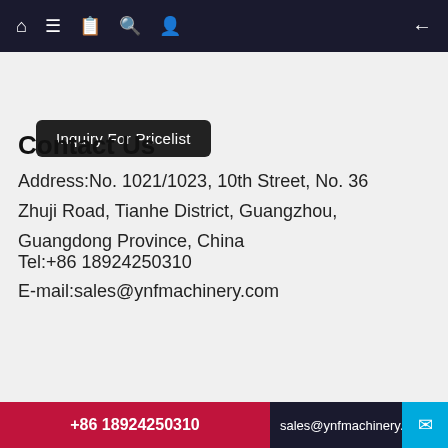Navigation bar with home, menu, document, search, user icons and back arrow
Inquiry For Pricelist
Contact Us
Address:No. 1021/1023, 10th Street, No. 36 Zhuji Road, Tianhe District, Guangzhou, Guangdong Province, China
Tel:+86 18924250310
E-mail:sales@ynfmachinery.com
© Copyright - 2010-2022 : GuangZhou Xiebang Machinery Co., Ltd (YNF Machinery) All Rights Reserved. Hot Products - Sitemap Jcb Excavator Spare Parts Hs Code, Excavator Components, Excavator Swing Bearing Replacement Cost, Excavator Cabin Parts, Excavator
+86 18924250310  sales@ynfmachinery.c